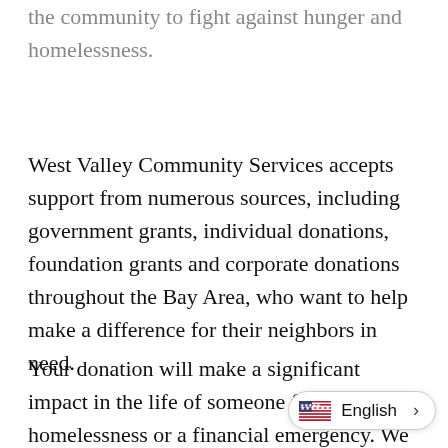the community to fight against hunger and homelessness.
West Valley Community Services accepts support from numerous sources, including government grants, individual donations, foundation grants and corporate donations throughout the Bay Area, who want to help make a difference for their neighbors in need.
Your donation will make a significant impact in the life of someone facing hunger, homelessness or a financial emergency. We also ac donations via: